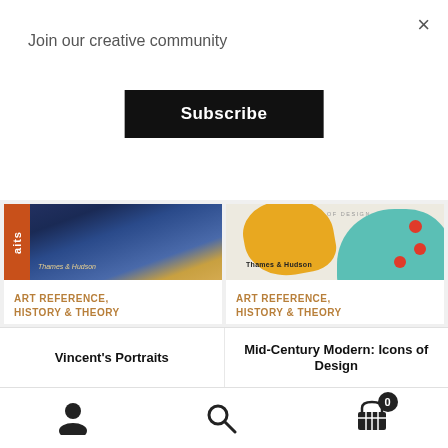×
Join our creative community
Subscribe
[Figure (photo): Book cover of Vincent's Portraits with Van Gogh painting background and orange spine]
ART REFERENCE, HISTORY & THEORY
[Figure (photo): Book cover of Mid-Century Modern: Icons of Design with teal, yellow and white abstract shapes and red dots]
ART REFERENCE, HISTORY & THEORY
Vincent's Portraits
Mid-Century Modern: Icons of Design
user icon, search icon, cart icon with badge 0